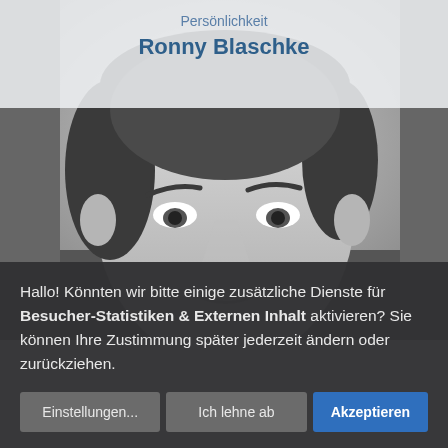Persönlichkeit
Ronny Blaschke
[Figure (photo): Black and white close-up portrait photo of a middle-aged man (Ronny Blaschke) with short hair, looking slightly to the side. The background is blurred.]
Hallo! Könnten wir bitte einige zusätzliche Dienste für Besucher-Statistiken & Externen Inhalt aktivieren? Sie können Ihre Zustimmung später jederzeit ändern oder zurückziehen.
Einstellungen...
Ich lehne ab
Akzeptieren